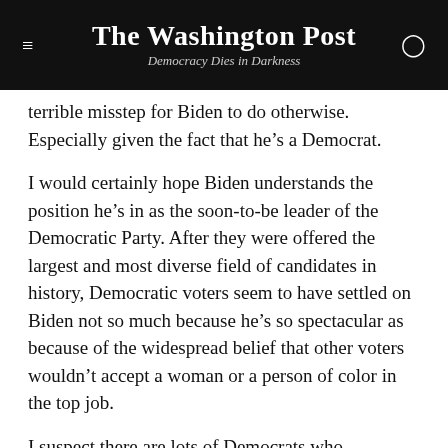The Washington Post
Democracy Dies in Darkness
terrible misstep for Biden to do otherwise. Especially given the fact that he's a Democrat.
I would certainly hope Biden understands the position he's in as the soon-to-be leader of the Democratic Party. After they were offered the largest and most diverse field of candidates in history, Democratic voters seem to have settled on Biden not so much because he's so spectacular as because of the widespread belief that other voters wouldn't accept a woman or a person of color in the top job.
I suspect there are lots of Democrats who submitted themselves to that dispiriting conclusion but don't feel good about it, though. They might be more inclined to...